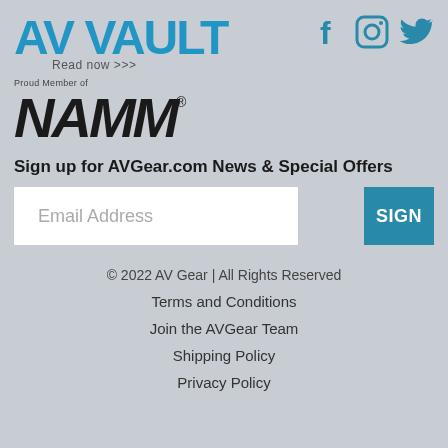[Figure (logo): AV VAULT logo in blue bold text with 'Read now >>>' below]
[Figure (logo): Social media icons: Facebook, Instagram, Twitter in teal/blue]
[Figure (logo): Proud Member of NAMM logo in bold black italic text]
Sign up for AVGear.com News & Special Offers
Email Address
SIGN
© 2022 AV Gear | All Rights Reserved
Terms and Conditions
Join the AVGear Team
Shipping Policy
Privacy Policy